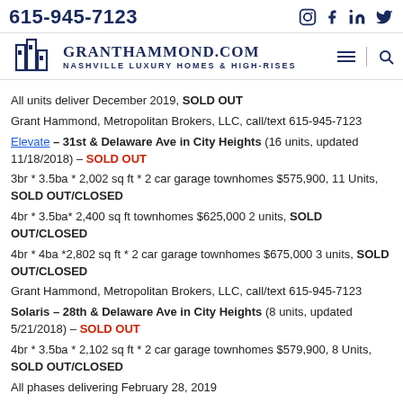615-945-7123
[Figure (logo): GrantHammond.com Nashville Luxury Homes & High-Rises logo with building icon]
All units deliver December 2019, SOLD OUT
Grant Hammond, Metropolitan Brokers, LLC, call/text 615-945-7123
Elevate – 31st & Delaware Ave in City Heights (16 units, updated 11/18/2018) – SOLD OUT
3br * 3.5ba * 2,002 sq ft * 2 car garage townhomes $575,900, 11 Units, SOLD OUT/CLOSED
4br * 3.5ba* 2,400 sq ft townhomes $625,000 2 units, SOLD OUT/CLOSED
4br * 4ba *2,802 sq ft * 2 car garage townhomes $675,000 3 units, SOLD OUT/CLOSED
Grant Hammond, Metropolitan Brokers, LLC, call/text 615-945-7123
Solaris – 28th & Delaware Ave in City Heights (8 units, updated 5/21/2018) – SOLD OUT
4br * 3.5ba * 2,102 sq ft * 2 car garage townhomes $579,900, 8 Units, SOLD OUT/CLOSED
All phases delivering February 28, 2019